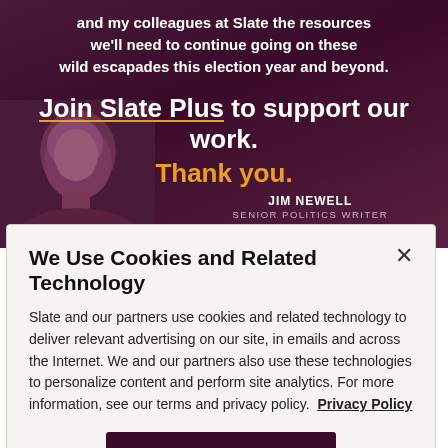and my colleagues at Slate the resources we'll need to continue going on these wild escapades this election year and beyond.
Join Slate Plus to support our work. Thank you.
JIM NEWELL
SENIOR POLITICS WRITER
We Use Cookies and Related Technology
Slate and our partners use cookies and related technology to deliver relevant advertising on our site, in emails and across the Internet. We and our partners also use these technologies to personalize content and perform site analytics. For more information, see our terms and privacy policy.  Privacy Policy
OK